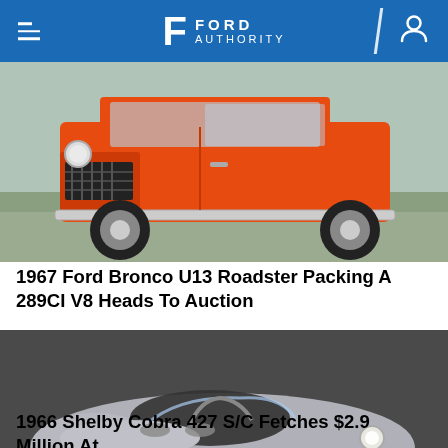Ford Authority
[Figure (photo): Orange 1967 Ford Bronco U13 Roadster photographed from the front-left, driving on a road, showing off-road tires and chrome bumper]
1967 Ford Bronco U13 Roadster Packing A 289CI V8 Heads To Auction
[Figure (photo): Silver 1966 Shelby Cobra 427 S/C photographed in studio on dark background, three-quarter front view]
1966 Shelby Cobra 427 S/C Fetches $2.9 Million At